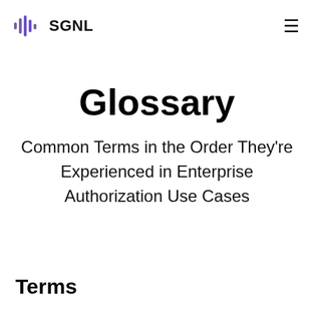SGNL
Glossary
Common Terms in the Order They're Experienced in Enterprise Authorization Use Cases
Terms